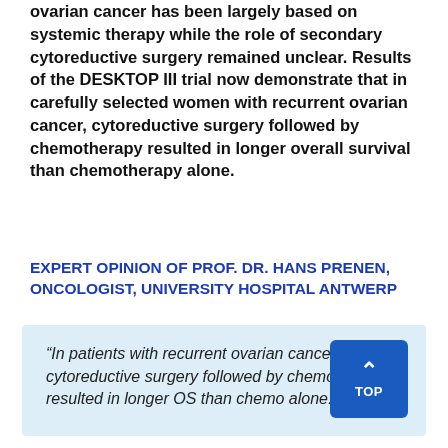ovarian cancer has been largely based on systemic therapy while the role of secondary cytoreductive surgery remained unclear. Results of the DESKTOP III trial now demonstrate that in carefully selected women with recurrent ovarian cancer, cytoreductive surgery followed by chemotherapy resulted in longer overall survival than chemotherapy alone.
EXPERT OPINION OF PROF. DR. HANS PRENEN, ONCOLOGIST, UNIVERSITY HOSPITAL ANTWERP
“In patients with recurrent ovarian cancer, cytoreductive surgery followed by chemotherapy resulted in longer OS than chemo alone.”